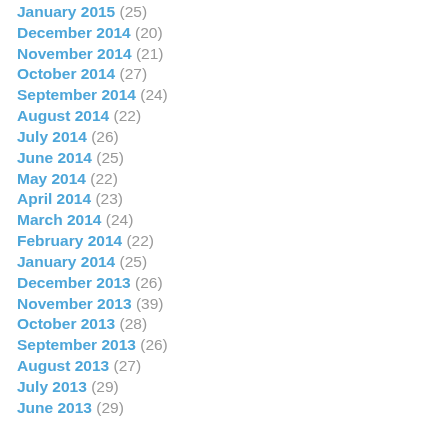January 2015 (25)
December 2014 (20)
November 2014 (21)
October 2014 (27)
September 2014 (24)
August 2014 (22)
July 2014 (26)
June 2014 (25)
May 2014 (22)
April 2014 (23)
March 2014 (24)
February 2014 (22)
January 2014 (25)
December 2013 (26)
November 2013 (39)
October 2013 (28)
September 2013 (26)
August 2013 (27)
July 2013 (29)
June 2013 (29)